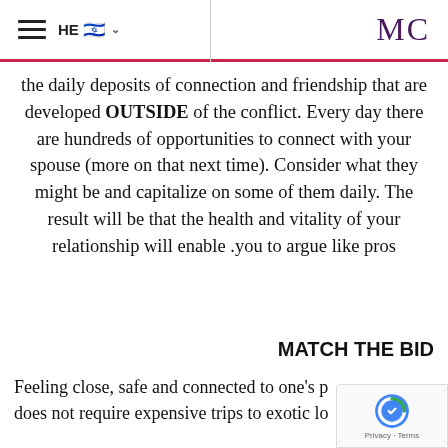HE [Israeli flag] MC
the daily deposits of connection and friendship that are developed OUTSIDE of the conflict. Every day there are hundreds of opportunities to connect with your spouse (more on that next time). Consider what they might be and capitalize on some of them daily. The result will be that the health and vitality of your relationship will enable you to argue like pros.
MATCH THE BID
Feeling close, safe and connected to one's p... does not require expensive trips to exotic lo...